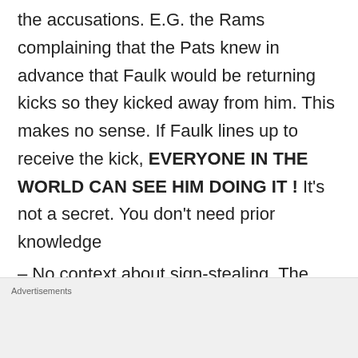the accusations. E.G. the Rams complaining that the Pats knew in advance that Faulk would be returning kicks so they kicked away from him. This makes no sense. If Faulk lines up to receive the kick, EVERYONE IN THE WORLD CAN SEE HIM DOING IT ! It's not a secret. You don't need prior knowledge
– No context about sign-stealing. The article gave an ominous tone about how
Advertisements